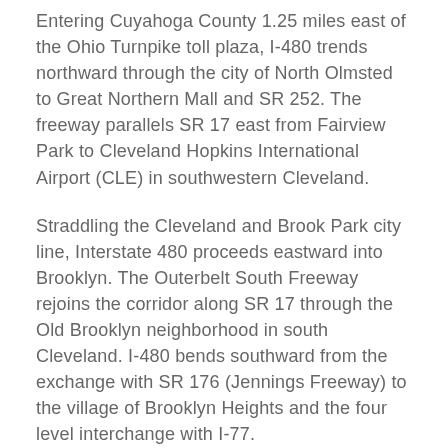Entering Cuyahoga County 1.25 miles east of the Ohio Turnpike toll plaza, I-480 trends northward through the city of North Olmsted to Great Northern Mall and SR 252. The freeway parallels SR 17 east from Fairview Park to Cleveland Hopkins International Airport (CLE) in southwestern Cleveland.
Straddling the Cleveland and Brook Park city line, Interstate 480 proceeds eastward into Brooklyn. The Outerbelt South Freeway rejoins the corridor along SR 17 through the Old Brooklyn neighborhood in south Cleveland. I-480 bends southward from the exchange with SR 176 (Jennings Freeway) to the village of Brooklyn Heights and the four level interchange with I-77.